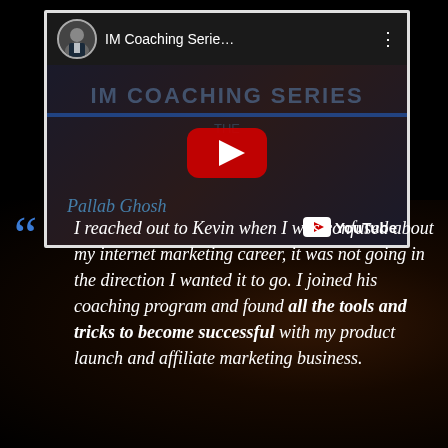[Figure (screenshot): YouTube video thumbnail showing 'IM Coaching Serie...' channel with a man in suit as avatar, red play button, text 'IM COACHING SERIES' and 'Pallab Ghosh' with YouTube logo]
“ I reached out to Kevin when I was confused about my internet marketing career, it was not going in the direction I wanted it to go. I joined his coaching program and found all the tools and tricks to become successful with my product launch and affiliate marketing business.